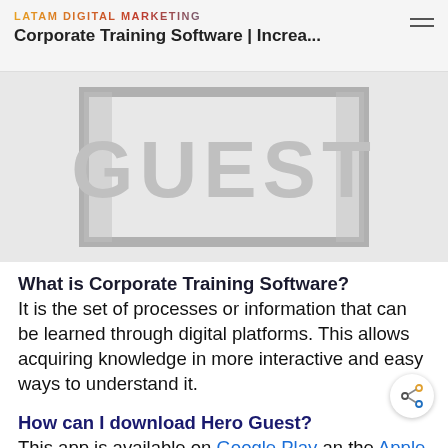LATAM DIGITAL MARKETING
Corporate Training Software | Increa...
[Figure (illustration): A gray rectangular badge/logo with the word GUEST in large gray letters with vertical bars on each side, on a light gray background]
What is Corporate Training Software?
It is the set of processes or information that can be learned through digital platforms. This allows acquiring knowledge in more interactive and easy ways to understand it.
How can I download Hero Guest?
This app is available on Google Play and the Apple App Store.